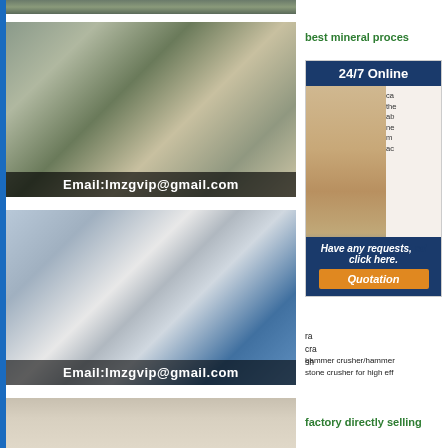[Figure (photo): Top cropped photo of mining/construction machinery]
[Figure (photo): Mobile crusher machine on road with email overlay: Email:lmzgvip@gmail.com]
[Figure (photo): Jaw crusher machine inside factory with email overlay: Email:lmzgvip@gmail.com]
[Figure (photo): Partial bottom image of industrial tanks/silos]
best mineral proces
[Figure (infographic): 24/7 Online customer service widget with photo of woman with headset, Have any requests, click here. and Quotation button]
hammer crusher/hammer stone crusher for high eff
factory directly selling